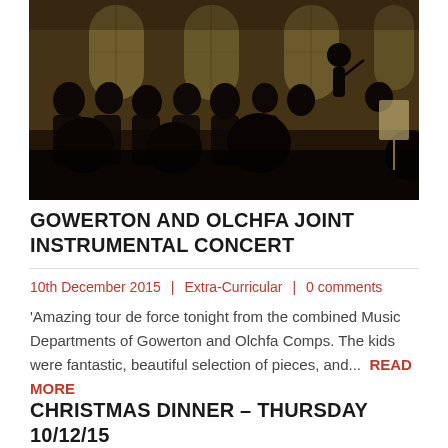[Figure (photo): Orchestra/band performing in a grand hall or church, students with instruments, conductor visible, atmospheric lighting with arched windows in background]
GOWERTON AND OLCHFA JOINT INSTRUMENTAL CONCERT
10th December 2015 | Extra-Curricular | 0 comments
'Amazing tour de force tonight from the combined Music Departments of Gowerton and Olchfa Comps. The kids were fantastic, beautiful selection of pieces, and...  READ MORE
CHRISTMAS DINNER – THURSDAY 10/12/15